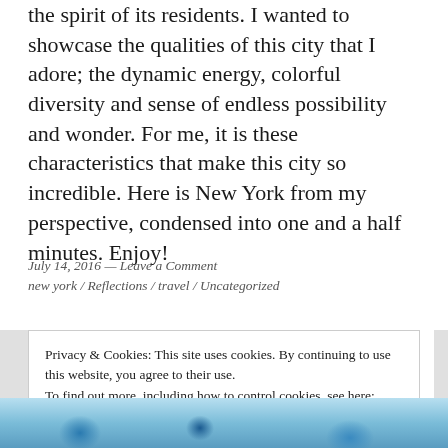the spirit of its residents. I wanted to showcase the qualities of this city that I adore; the dynamic energy, colorful diversity and sense of endless possibility and wonder. For me, it is these characteristics that make this city so incredible. Here is New York from my perspective, condensed into one and a half minutes. Enjoy!
July 14, 2016 — Leave a Comment
new york / Reflections / travel / Uncategorized
Privacy & Cookies: This site uses cookies. By continuing to use this website, you agree to their use.
To find out more, including how to control cookies, see here: Cookie Policy
Close and accept
[Figure (photo): Colorful blue and white decorative image strip at the bottom of the page]